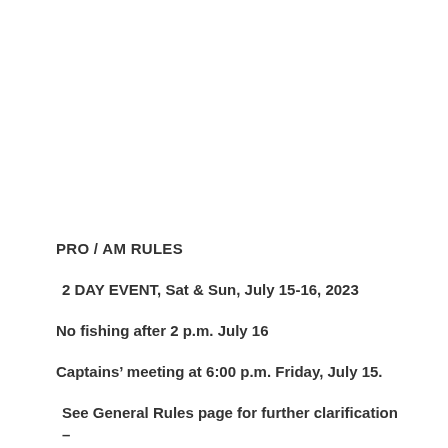PRO / AM RULES
2 DAY EVENT, Sat & Sun, July 15-16, 2023
No fishing after 2 p.m. July 16
Captains' meeting at 6:00 p.m. Friday, July 15.
See General Rules page for further clarification – Failure to be familiar with rules may result in disqualification...